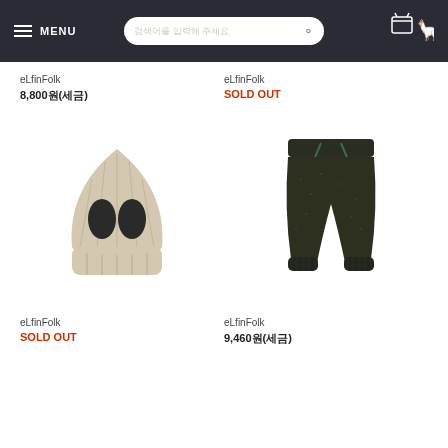MENU [search bar] [cart icon]
eLfinFolk
8,800원(세금)
eLfinFolk
SOLD OUT
[Figure (photo): A knit beanie hat in beige/cream color with two dark oval ear-like cutouts on the front.]
[Figure (photo): Dark patterned jogger pants with a drawstring waist and ribbed cuffs.]
eLfinFolk
SOLD OUT
eLfinFolk
9,460원(세금)